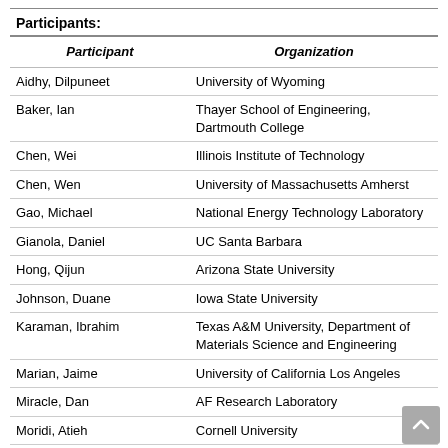| Participant | Organization |
| --- | --- |
| Aidhy, Dilpuneet | University of Wyoming |
| Baker, Ian | Thayer School of Engineering, Dartmouth College |
| Chen, Wei | Illinois Institute of Technology |
| Chen, Wen | University of Massachusetts Amherst |
| Gao, Michael | National Energy Technology Laboratory |
| Gianola, Daniel | UC Santa Barbara |
| Hong, Qijun | Arizona State University |
| Johnson, Duane | Iowa State University |
| Karaman, Ibrahim | Texas A&M University, Department of Materials Science and Engineering |
| Marian, Jaime | University of California Los Angeles |
| Miracle, Dan | AF Research Laboratory |
| Moridi, Atieh | Cornell University |
| Oh, Hyunseok | Massachusetts Institute of |